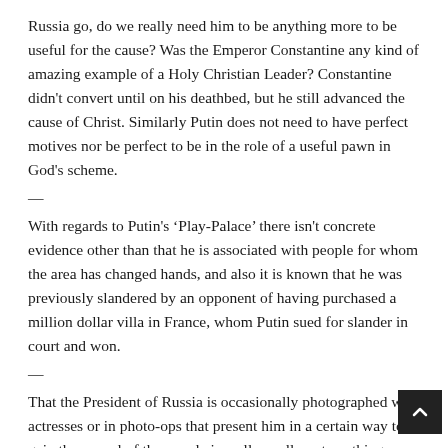Russia go, do we really need him to be anything more to be useful for the cause? Was the Emperor Constantine any kind of amazing example of a Holy Christian Leader? Constantine didn't convert until on his deathbed, but he still advanced the cause of Christ. Similarly Putin does not need to have perfect motives nor be perfect to be in the role of a useful pawn in God's scheme.
—
With regards to Putin's ‘Play-Palace’ there isn't concrete evidence other than that he is associated with people for whom the area has changed hands, and also it is known that he was previously slandered by an opponent of having purchased a million dollar villa in France, whom Putin sued for slander in court and won.
—
That the President of Russia is occasionally photographed with actresses or in photo-ops that present him in a certain way to gain the appeal of the people is really, really not anything worth bothering